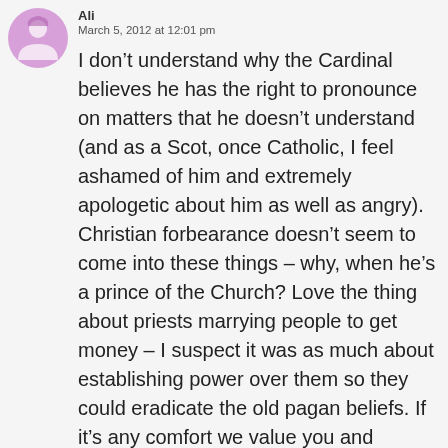[Figure (illustration): Purple/pink circular avatar icon with a stylized figure design]
Ali
March 5, 2012 at 12:01 pm
I don't understand why the Cardinal believes he has the right to pronounce on matters that he doesn't understand (and as a Scot, once Catholic, I feel ashamed of him and extremely apologetic about him as well as angry). Christian forbearance doesn't seem to come into these things – why, when he's a prince of the Church? Love the thing about priests marrying people to get money – I suspect it was as much about establishing power over them so they could eradicate the old pagan beliefs. If it's any comfort we value you and